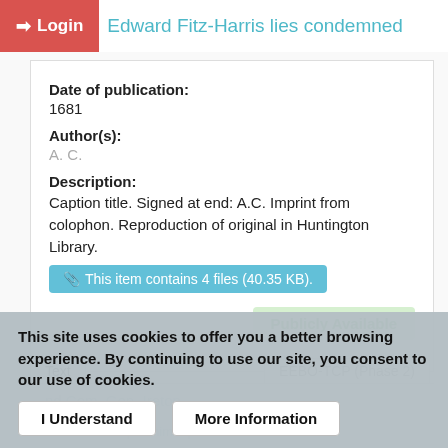Edward Fitz-Harris lies condemned
Date of publication:
1681
Author(s):
A. C.
Description:
Caption title. Signed at end: A.C. Imprint from colophon. Reproduction of original in Huntington Library.
This item contains 4 files (40.35 KB).
Publicly Available
Text
EEBO-TCP (Phase 2)
This site uses cookies to offer you a better browsing experience. By continuing to use our site, you consent to our use of cookies.